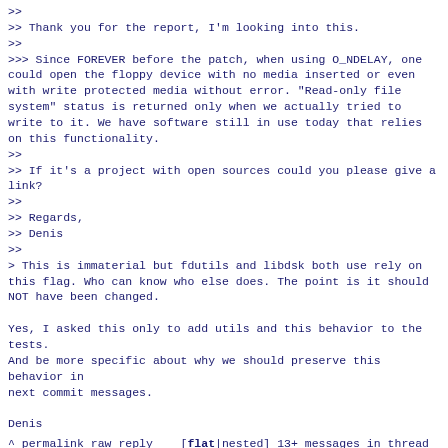>>
>> Thank you for the report, I'm looking into this.
>>
>>> Since FOREVER before the patch, when using O_NDELAY, one could open the floppy device with no media inserted or even with write protected media without error. "Read-only file system" status is returned only when we actually tried to write to it. We have software still in use today that relies on this functionality.
>>
>> If it's a project with open sources could you please give a link?
>>
>> Regards,
>> Denis
>>
> This is immaterial but fdutils and libdsk both use rely on this flag. Who can know who else does. The point is it should NOT have been changed.

Yes, I asked this only to add utils and this behavior to the tests.
And be more specific about why we should preserve this behavior in
next commit messages.

Denis
^ permalink raw reply   [flat|nested] 13+ messages in thread